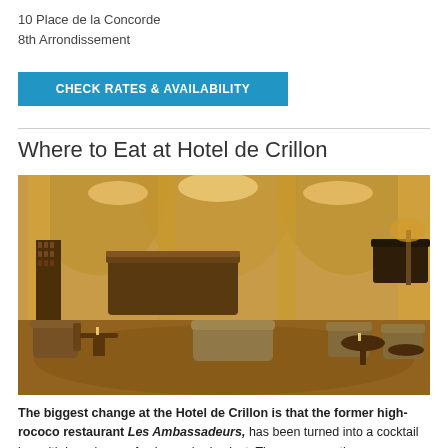10 Place de la Concorde
8th Arrondissement
CHECK RATES & AVAILABILITY
Where to Eat at Hotel de Crillon
[Figure (photo): Luxurious hotel bar interior with warm golden lighting, marble columns, chandeliers, velvet sofas, armchairs, small round tables, and a grand piano in the background. Rich ornate decor throughout.]
The biggest change at the Hotel de Crillon is that the former high-rococo restaurant Les Ambassadeurs, has been turned into a cocktail bar with low-slung sofas in crushed velvet. There are now three